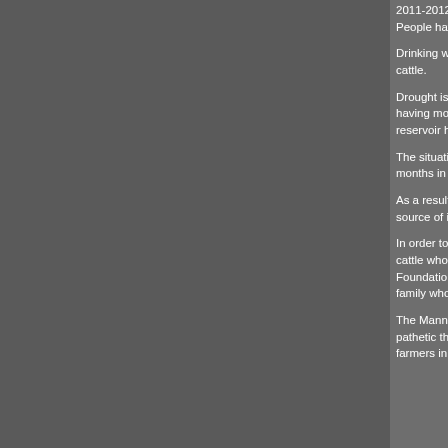2011-2012. The current situation is even worse than the se... people to live in this area as the groundwater level has falle... People have to walk aroundï¿½ 5-10 km to get water.
Drinking water is scarce; today many villages of the Mann t... Due to the drought, farmers have not been able to harvest ... cattle.
Drought is not new to Mann taluka.ï¿½ The average rainfa... clearly means that even for drinking water there should be ... having more than 115 villages a total population of 1, 99,56... sad that Dhakani reservoir has water but it is contaminated... reservoir has almost dried up.ï¿½
The situation clearly shows that policy makers do not have ... As a result people are migrating from this area not in searc... six months in 40% of villages water is supplied through wat... becoming more and more challenging, as the reservoirs ru...
As a result of the unavailability of fodder and water, the nu... around 25000 already.ï¿½ To loseiï¿½ cattle due to droug... source of income for whole families. In a situation like this t... by tankers and to arrange cattle fodder and water in the aff...
In order to help affected farmers, the Mann Deshi Foundati... of the district officer, on the 21st of April 2012. It organized... all cattle whose owners do not have the means to feed the... surrounding villages brought more than 2200ï¿½ cattle to t... Deshi Foundation expects at least the same amount of catt... they arrive, employees of the Mann Deshi Foundation take... owning family who normally stay at the camp. In order to p... purchased a 24000 liter tanker.ï¿½
The Mann Deshi Foundation has taken up its responsibility... an initiative to provide water and fodder to animals in the M... so pathetic that people are coming to the Cattle Camp not c... available for them to cook food for their family. The Mann D... farmers in need at their Cattle Camp for at least three-four...